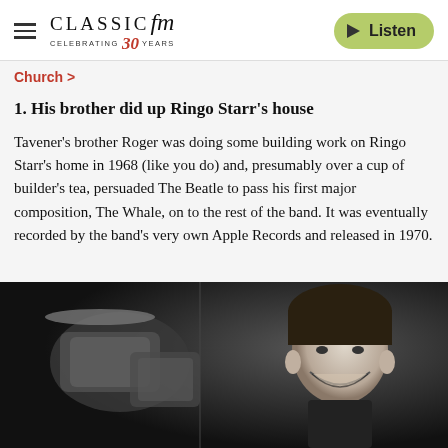CLASSIC FM — CELEBRATING 30 YEARS | Listen
Church >
1. His brother did up Ringo Starr's house
Tavener's brother Roger was doing some building work on Ringo Starr's home in 1968 (like you do) and, presumably over a cup of builder's tea, persuaded The Beatle to pass his first major composition, The Whale, on to the rest of the band. It was eventually recorded by the band's very own Apple Records and released in 1970.
[Figure (photo): Black and white photo of Ringo Starr smiling behind a drum kit]